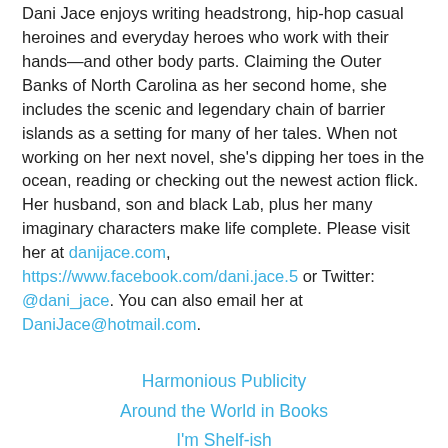Dani Jace enjoys writing headstrong, hip-hop casual heroines and everyday heroes who work with their hands—and other body parts. Claiming the Outer Banks of North Carolina as her second home, she includes the scenic and legendary chain of barrier islands as a setting for many of her tales. When not working on her next novel, she's dipping her toes in the ocean, reading or checking out the newest action flick. Her husband, son and black Lab, plus her many imaginary characters make life complete. Please visit her at danijace.com, https://www.facebook.com/dani.jace.5 or Twitter: @dani_jace. You can also email her at DaniJace@hotmail.com.
Harmonious Publicity
Around the World in Books
I'm Shelf-ish
Review From Here
Griperang's Bookmark
Belle's Book Bag